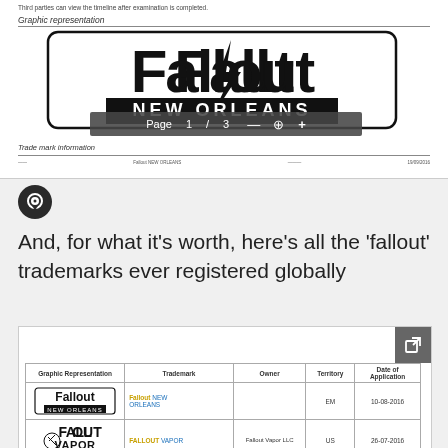[Figure (screenshot): Screenshot of a trademark document page showing the Fallout New Orleans logo graphic representation, with page navigation bar showing Page 1/3, and a 'Trade mark information' section header with a horizontal rule. Footer shows 'Fallout NEW ORLEANS' and date '19/09/2016'.]
[Figure (logo): Fallout New Orleans stylized logo with lightning bolt through the 'o' in Fallout, and 'NEW ORLEANS' in bold block letters below, inside a rounded rectangle border.]
And, for what it's worth, here's all the 'fallout' trademarks ever registered globally
[Figure (screenshot): Screenshot of a trademark database table showing columns: Graphic Representation, Trademark, Owner, Territory, Date of Application. Row 1: Fallout New Orleans logo, 'Fallout NEW ORLEANS' (link), EM territory, 10-08-2016. Row 2: Fallout Vapor logo, 'FALLOUT VAPOR' (link), Fallout Vapor LLC owner, US territory, 26-07-2016.]
| Graphic Representation | Trademark | Owner | Territory | Date of Application |
| --- | --- | --- | --- | --- |
| [Fallout New Orleans logo] | Fallout NEW ORLEANS |  | EM | 10-08-2016 |
| [Fallout Vapor logo] | FALLOUT VAPOR | Fallout Vapor LLC | US | 26-07-2016 |